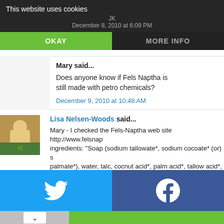This website uses cookies
JK
December 8, 2010 at 6:09 PM
OKAY
MORE INFO
Mary said...
Does anyone know if Fels Naptha is still made with petro chemicals?
December 9, 2010 at 10:48 AM
Lisa Nelsen-Woods said...
Mary - I checked the Fels-Naptha web site http://www.felsnap... ingredients: "Soap (sodium tallowate*, sodium cocoate* (or) s palmate*), water, talc, cocnut acid*, palm acid*, tallow acid*, l sodium chloride, pentasodium pentetate and/or tetrasodium e
[Figure (infographic): Twitter and Facebook social share buttons - blue Twitter bird icon on light blue background, Facebook f icon on dark blue background]
[Figure (infographic): Advertisement banner: man with luggage, text NEW YORK, LONDON OR SINGAPORE, Make an impact with insights. Open button. Sense Forth logo.]